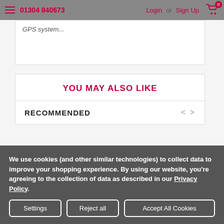01304 840673  Login or Sign Up  0
GPS system...
YOU MAY ALSO LIKE
RECOMMENDED
[Figure (photo): Dark/black product image partially visible]
We use cookies (and other similar technologies) to collect data to improve your shopping experience. By using our website, you're agreeing to the collection of data as described in our Privacy Policy.